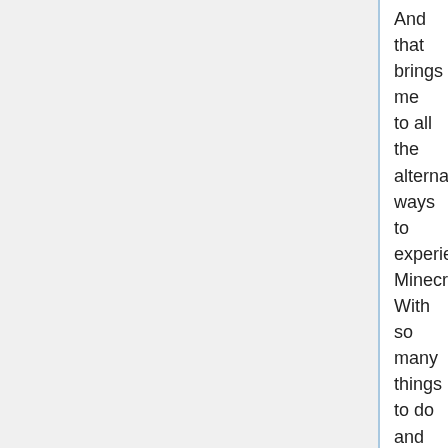And that brings me to all the alternative ways to experience Minecraft. With so many things to do and so some ways to play, it's no surprise that Minecraft is the second most popular sport on this planet! You may run any Minecraft model in your ScalaCube server. ScalaCube lets you set up limitless sport servers in a single VPS server and they can accommodate more players than the listed 10 to 600 slots so long as there's enough RAM and CPU juice. The time period “Free Modded Minecraft Server Hosting” itself doesn't even exist as I haven't been able to find a single “free” server that might assist any mods on it even with 1 individual on the server. Like most prime Minecraft internet hosting suppliers, ServerMiner sets up your server nearly instantly after paying for